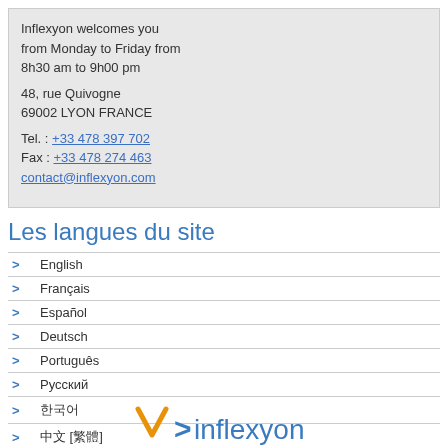Inflexyon welcomes you from Monday to Friday from 8h30 am to 9h00 pm

48, rue Quivogne
69002 LYON FRANCE

Tel. : +33 478 397 702
Fax : +33 478 274 463
contact@inflexyon.com
Les langues du site
English
Français
Español
Deutsch
Português
Русский
한국어
中文 [繁體]
ภาษาไทย
日本語 (日本)
العربية
[Figure (logo): Inflexyon logo with orange V chevron and blue text '>inflexyon']